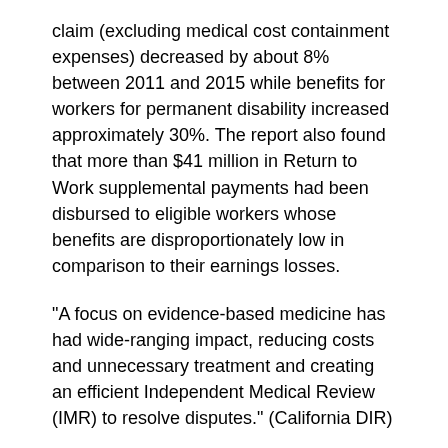claim (excluding medical cost containment expenses) decreased by about 8% between 2011 and 2015 while benefits for workers for permanent disability increased approximately 30%. The report also found that more than $41 million in Return to Work supplemental payments had been disbursed to eligible workers whose benefits are disproportionately low in comparison to their earnings losses.
“A focus on evidence-based medicine has had wide-ranging impact, reducing costs and unnecessary treatment and creating an efficient Independent Medical Review (IMR) to resolve disputes.” (California DIR)
By the numbers, medical disputes in California are not widespread. When disputes arise, the dispute resolution process (i.e., UR and IMR) is effective in protecting injured workers from inappropriate medical treatment and employers from unnecessary expense.
The workers’ compensation system in California is far from perfect. However, methods to expedite the delivery of care to injured workers already exist. Examples range from 30-day Pass-through / 30-day Exemption Items per SB 1160, Expedited